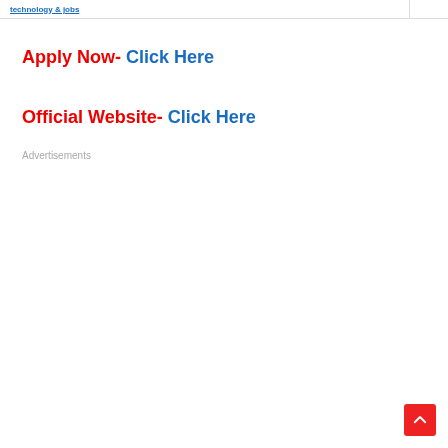technology & jobs
Apply Now- Click Here
Official Website- Click Here
Advertisements